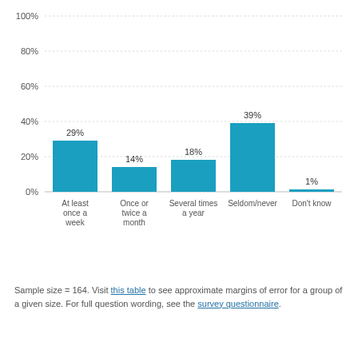[Figure (bar-chart): ]
Sample size = 164. Visit this table to see approximate margins of error for a group of a given size. For full question wording, see the survey questionnaire.